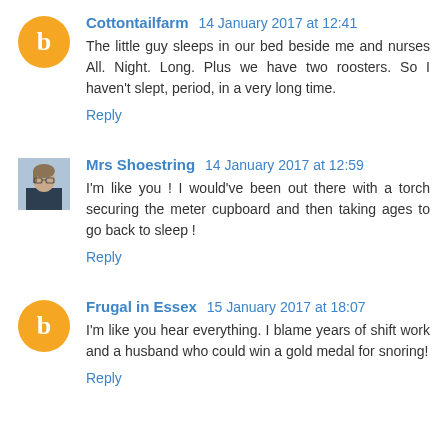Cottontailfarm 14 January 2017 at 12:41
The little guy sleeps in our bed beside me and nurses All. Night. Long. Plus we have two roosters. So I haven't slept, period, in a very long time.
Reply
Mrs Shoestring 14 January 2017 at 12:59
I'm like you ! I would've been out there with a torch securing the meter cupboard and then taking ages to go back to sleep !
Reply
Frugal in Essex 15 January 2017 at 18:07
I'm like you hear everything. I blame years of shift work and a husband who could win a gold medal for snoring!
Reply